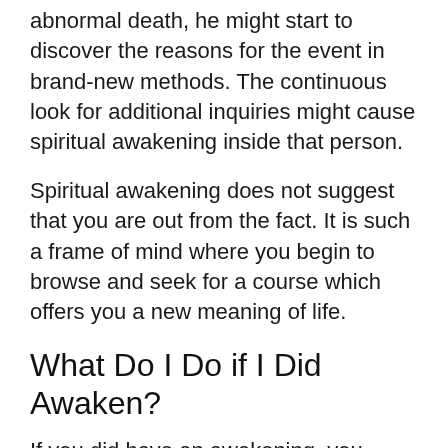abnormal death, he might start to discover the reasons for the event in brand-new methods. The continuous look for additional inquiries might cause spiritual awakening inside that person.
Spiritual awakening does not suggest that you are out from the fact. It is such a frame of mind where you begin to browse and seek for a course which offers you a new meaning of life.
What Do I Do if I Did Awaken?
If you did have an awakening, you remain in for rather a flight. You do not call the shots, and you will need to discover how to give up and also sustain what stiring up intends to